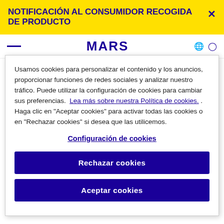NOTIFICACIÓN AL CONSUMIDOR RECOGIDA DE PRODUCTO
[Figure (screenshot): MARS website navigation bar with logo and icons]
Usamos cookies para personalizar el contenido y los anuncios, proporcionar funciones de redes sociales y analizar nuestro tráfico. Puede utilizar la configuración de cookies para cambiar sus preferencias. Lea más sobre nuestra Política de cookies. . Haga clic en "Aceptar cookies" para activar todas las cookies o en "Rechazar cookies" si desea que las utilicemos.
Configuración de cookies
Rechazar cookies
Aceptar cookies